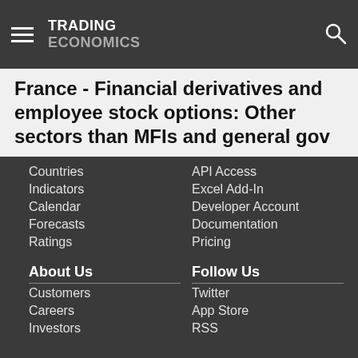TRADING ECONOMICS
France - Financial derivatives and employee stock options: Other sectors than MFIs and general gov
Countries
Indicators
Calendar
Forecasts
Ratings
API Access
Excel Add-In
Developer Account
Documentation
Pricing
About Us
Follow Us
Customers
Careers
Investors
Advertisers
About us
Twitter
App Store
RSS
GitHub
Privacy
Copyright ©2022 TRADING ECONOMICS
All Rights Reserved